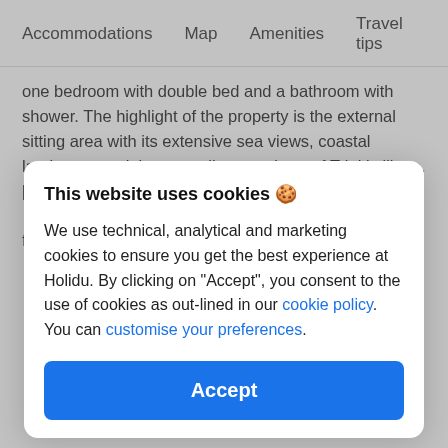Accommodations   Map   Amenities   Travel tips
one bedroom with double bed and a bathroom with shower. The highlight of the property is the external sitting area with its extensive sea views, coastal landscape and the tranquil atmosphere of Tripiti village.[Interior: 17 m2…
from £79 / night
This website uses cookies 🍪
We use technical, analytical and marketing cookies to ensure you get the best experience at Holidu. By clicking on "Accept", you consent to the use of cookies as out-lined in our cookie policy. You can customise your preferences.